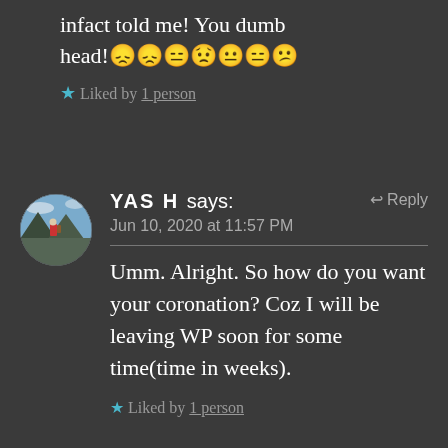infact told me! You dumb head!😞😞😑😟😐😑😕
★ Liked by 1 person
YASH says:
Jun 10, 2020 at 11:57 PM
← Reply
Umm. Alright. So how do you want your coronation? Coz I will be leaving WP soon for some time(time in weeks).
★ Liked by 1 person